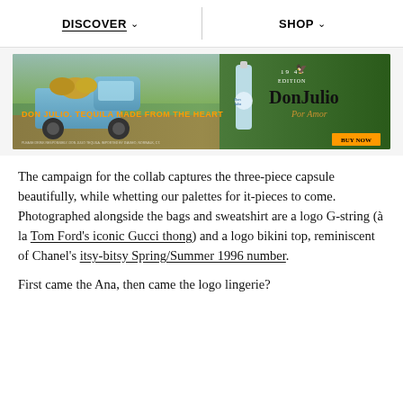DISCOVER   SHOP
[Figure (photo): Don Julio tequila advertisement banner showing a blue vintage truck with agave plants and a Don Julio Blanco bottle. Orange text reads 'DON JULIO. TEQUILA MADE FROM THE HEART'. Don Julio Por Amor branding on the right with a BUY NOW button.]
The campaign for the collab captures the three-piece capsule beautifully, while whetting our palettes for it-pieces to come. Photographed alongside the bags and sweatshirt are a logo G-string (à la Tom Ford's iconic Gucci thong) and a logo bikini top, reminiscent of Chanel's itsy-bitsy Spring/Summer 1996 number.
First came the Ana, then came the logo lingerie?